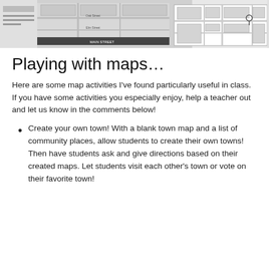[Figure (screenshot): A partial view of a town map screenshot showing streets, buildings, and map interface elements.]
Playing with maps…
Here are some map activities I've found particularly useful in class. If you have some activities you especially enjoy, help a teacher out and let us know in the comments below!
Create your own town! With a blank town map and a list of community places, allow students to create their own towns! Then have students ask and give directions based on their created maps. Let students visit each other's town or vote on their favorite town!